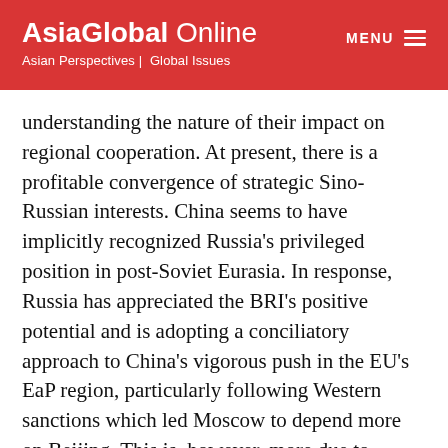AsiaGlobal Online — Asian Perspectives | Global Issues
understanding the nature of their impact on regional cooperation. At present, there is a profitable convergence of strategic Sino-Russian interests. China seems to have implicitly recognized Russia's privileged position in post-Soviet Eurasia. In response, Russia has appreciated the BRI's positive potential and is adopting a conciliatory approach to China's vigorous push in the EU's EaP region, particularly following Western sanctions which led Moscow to depend more on Beijing. This is, however, more due to strategic compulsions than a conscious choice. For Russia, the BRI is conducive to the creation of a multipolar world as it bolsters China's global stance to counterbalance American hegemony. Russia also views the BRI as a